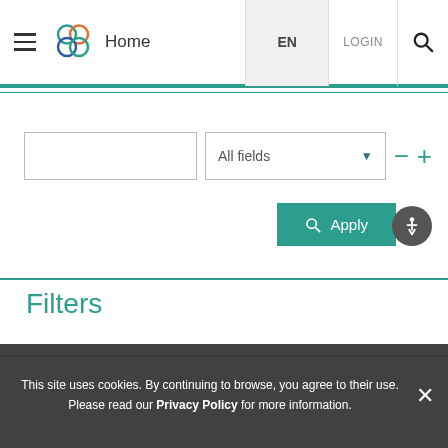[Figure (screenshot): Website navigation bar with hamburger menu, logo, Home link, EN language selector, LOGIN button, and search icon]
[Figure (screenshot): Search interface with text input field, All fields dropdown selector, minus and plus buttons, Apply button, and accessibility icon]
Filters
Social protection data statistics
Social protection approaches
This site uses cookies. By continuing to browse, you agree to their use. Please read our Privacy Policy for more information.